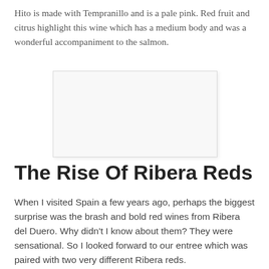Hito is made with Tempranillo and is a pale pink. Red fruit and citrus highlight this wine which has a medium body and was a wonderful accompaniment to the salmon.
[Figure (photo): A large white/blank rectangular image placeholder with light gray border and subtle shadow, centered on the page.]
The Rise Of Ribera Reds
When I visited Spain a few years ago, perhaps the biggest surprise was the brash and bold red wines from Ribera del Duero. Why didn't I know about them? They were sensational. So I looked forward to our entree which was paired with two very different Ribera reds.